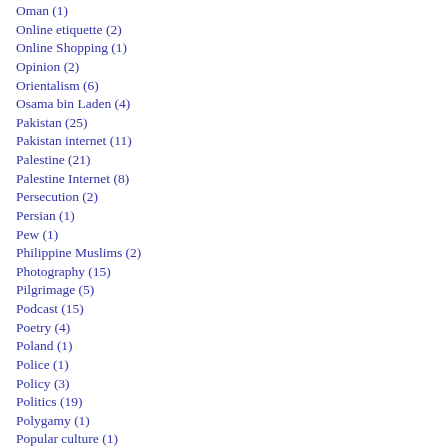Oman (1)
Online etiquette (2)
Online Shopping (1)
Opinion (2)
Orientalism (6)
Osama bin Laden (4)
Pakistan (25)
Pakistan internet (11)
Palestine (21)
Palestine Internet (8)
Persecution (2)
Persian (1)
Pew (1)
Philippine Muslims (2)
Photography (15)
Pilgrimage (5)
Podcast (15)
Poetry (4)
Poland (1)
Police (1)
Policy (3)
Politics (19)
Polygamy (1)
Popular culture (1)